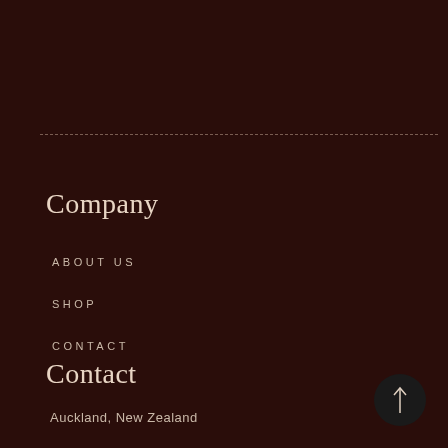Company
ABOUT US
SHOP
CONTACT
Contact
Auckland, New Zealand